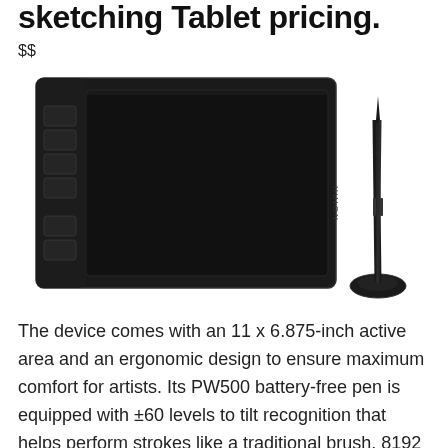sketching Tablet pricing.
$$
[Figure (photo): A black Huion drawing tablet (large, rectangular with buttons on left side) and a stylus pen standing upright in a holder, shown on a white background.]
The device comes with an 11 x 6.875-inch active area and an ergonomic design to ensure maximum comfort for artists. Its PW500 battery-free pen is equipped with ±60 levels to tilt recognition that helps perform strokes like a traditional brush. 8192 levels of pen pressure sensitivity deliver a more realistic pen-to-paper